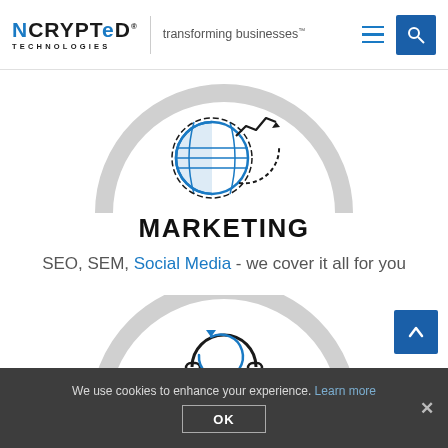[Figure (logo): NCRYPTed Technologies logo with tagline 'transforming businesses']
[Figure (illustration): Arch/semicircle with globe and analytics icon representing marketing]
MARKETING
SEO, SEM, Social Media - we cover it all for you
[Figure (illustration): Arch/semicircle with headset/support icon]
We use cookies to enhance your experience. Learn more OK